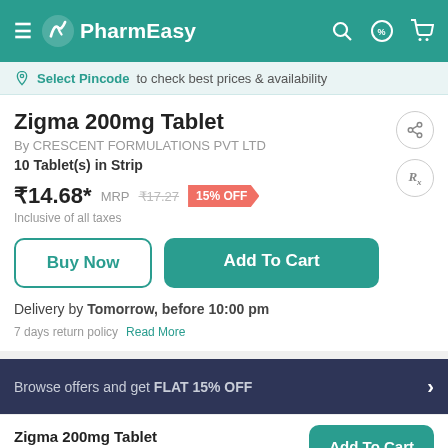PharmEasy
Select Pincode to check best prices & availability
Zigma 200mg Tablet
By CRESCENT FORMULATIONS PVT LTD
10 Tablet(s) in Strip
₹14.68* MRP ₹17.27 15% OFF
Inclusive of all taxes
Buy Now
Add To Cart
Delivery by Tomorrow, before 10:00 pm
7 days return policy  Read More
Browse offers and get FLAT 15% OFF
Zigma 200mg Tablet
₹14.68  15% OFF
Add To Cart